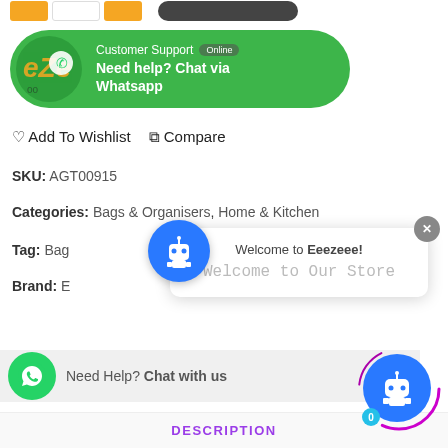[Figure (screenshot): Top navigation bar with orange and dark buttons]
[Figure (screenshot): Green WhatsApp customer support banner with logo, 'Customer Support Online' badge and 'Need help? Chat via Whatsapp' text]
♡ Add To Wishlist  ⧉ Compare
SKU: AGT00915
Categories: Bags & Organisers, Home & Kitchen
Tag: Bag
Brand: E...
[Figure (screenshot): Chatbot popup with robot icon showing 'Welcome to Eeezeee!' and 'Welcome to Our Store']
[Figure (screenshot): WhatsApp chat strip at bottom: 'Need Help? Chat with us']
[Figure (screenshot): Blue robot chatbot icon with purple ring at bottom right, badge showing 0]
DESCRIPTION